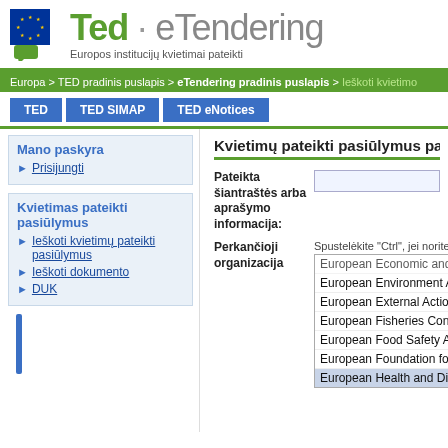[Figure (logo): TED eTendering logo with EU flag emblem and green/grey text]
Europos institucijų kvietimai pateikti
Europa > TED pradinis puslapis > eTendering pradinis puslapis > Ieškoti kvietimo
TED | TED SIMAP | TED eNotices
Mano paskyra
Prisijungti
Kvietimas pateikti pasiūlymus
Ieškoti kvietimų pateikti pasiūlymus
Ieškoti dokumento
DUK
Kvietimų pateikti pasiūlymus paies
Pateikta šiantraštės arba aprašymo informacija:
Spustelėkite "Ctrl", jei norite pasiri
Perkančioji organizacija
European Economic and... (partial)
European Environment A
European External Action
European Fisheries Con
European Food Safety A
European Foundation fo
European Health and Di